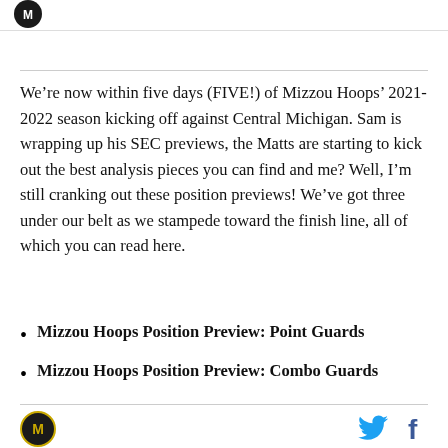We’re now within five days (FIVE!) of Mizzou Hoops’ 2021-2022 season kicking off against Central Michigan. Sam is wrapping up his SEC previews, the Matts are starting to kick out the best analysis pieces you can find and me? Well, I’m still cranking out these position previews! We’ve got three under our belt as we stampede toward the finish line, all of which you can read here.
Mizzou Hoops Position Preview: Point Guards
Mizzou Hoops Position Preview: Combo Guards